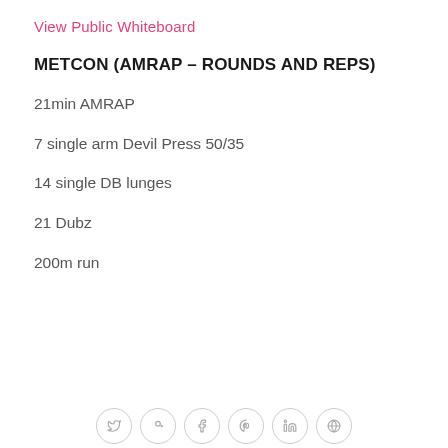View Public Whiteboard
METCON (AMRAP – ROUNDS AND REPS)
21min AMRAP
7 single arm Devil Press 50/35
14 single DB lunges
21 Dubz
200m run
[Figure (other): Social media sharing icons: Twitter, Google+, Facebook, Pinterest, LinkedIn, and another icon, arranged in a row at the bottom of the page.]